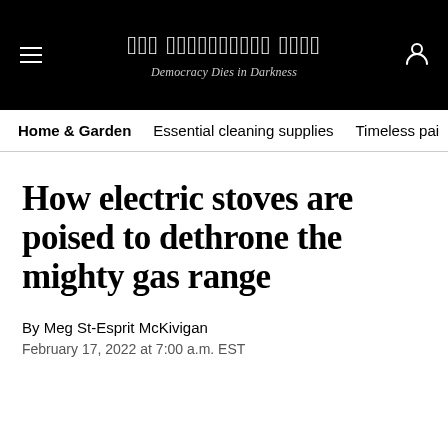The Washington Post — Democracy Dies in Darkness
Home & Garden   Essential cleaning supplies   Timeless pai
How electric stoves are poised to dethrone the mighty gas range
By Meg St-Esprit McKivigan
February 17, 2022 at 7:00 a.m. EST